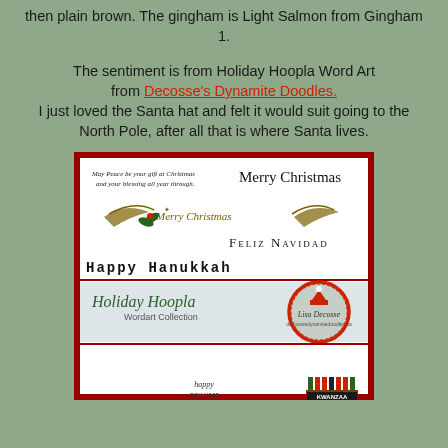then plain brown. The gingham is Light Salmon from Gingham 1.
The sentiment is from Holiday Hoopla Word Art from Decosse's Dynamite Doodles. I just loved the Santa hat and felt it would suit going to the North Pole, after all that is where Santa lives.
[Figure (illustration): Holiday Hoopla Word Art Collection card showing various holiday greetings including Merry Christmas, Feliz Navidad, Happy Hanukkah, Holiday Hoopla Wordart Collection, Ho Ho Ho Santa's on his way, Happy Holidays, Happy New Year, and Kwanzaa with Lisa Decosse branding circle.]